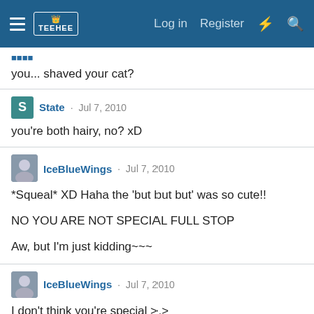TEEHEE — Log in  Register
you... shaved your cat?
State · Jul 7, 2010
you're both hairy, no? xD
IceBlueWings · Jul 7, 2010
*Squeal* XD Haha the 'but but but' was so cute!!

NO YOU ARE NOT SPECIAL FULL STOP

Aw, but I'm just kidding~~~
IceBlueWings · Jul 7, 2010
I don't think you're special >,>

TEEHEE XP Kidding. You are special!!